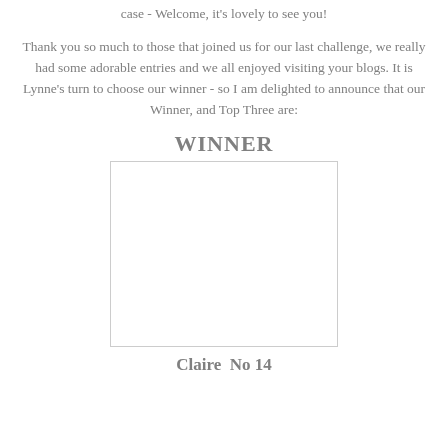case - Welcome, it's lovely to see you!
Thank you so much to those that joined us for our last challenge, we really had some adorable entries and we all enjoyed visiting your blogs. It is Lynne's turn to choose our winner - so I am delighted to announce that our Winner, and Top Three are:
WINNER
[Figure (photo): Blank/white image placeholder for winner entry]
Claire  No 14